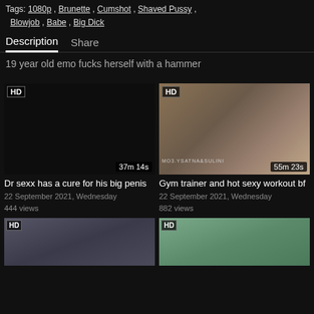Tags: 1080p , Brunette , Cumshot , Shaved Pussy , Blowjob , Babe , Big Dick
Description   Share
19 year old emo fucks herself with a hammer
[Figure (screenshot): Video thumbnail black screen with HD badge and 37m 14s duration]
Dr sexx has a cure for his big penis
22 September 2021, Wednesday
444 views
[Figure (photo): Video thumbnail showing two people in gym setting with HD badge and 55m 23s duration]
Gym trainer and hot sexy workout bf
22 September 2021, Wednesday
882 views
[Figure (photo): Video thumbnail partial view HD badge, person visible]
[Figure (photo): Video thumbnail partial view HD badge, teal/green tones]